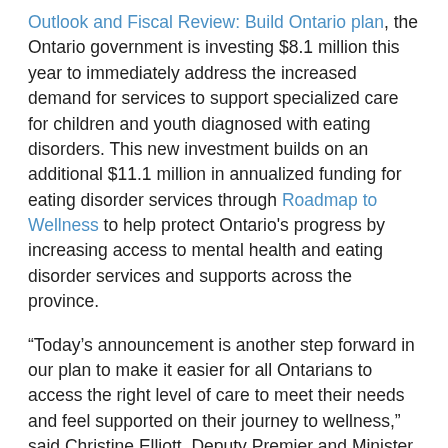Outlook and Fiscal Review: Build Ontario plan, the Ontario government is investing $8.1 million this year to immediately address the increased demand for services to support specialized care for children and youth diagnosed with eating disorders. This new investment builds on an additional $11.1 million in annualized funding for eating disorder services through Roadmap to Wellness to help protect Ontario's progress by increasing access to mental health and eating disorder services and supports across the province.
“Today’s announcement is another step forward in our plan to make it easier for all Ontarians to access the right level of care to meet their needs and feel supported on their journey to wellness,” said Christine Elliott, Deputy Premier and Minister of Health. “Through these investments, our government is expanding access to care so that more children and youth with eating disorders can receive